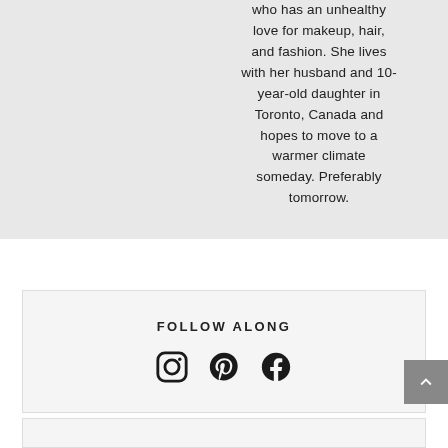who has an unhealthy love for makeup, hair, and fashion. She lives with her husband and 10-year-old daughter in Toronto, Canada and hopes to move to a warmer climate someday. Preferably tomorrow.
FOLLOW ALONG
[Figure (other): Social media icons: Instagram, Pinterest, Facebook]